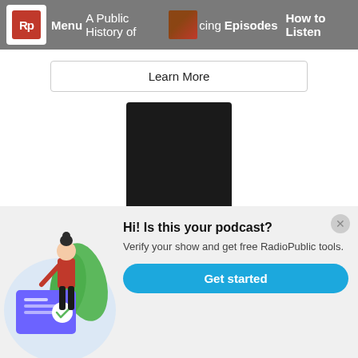[Figure (screenshot): Navigation bar with RadioPublic logo, Menu, A Public History of Racing text with thumbnail, Episodes, How to Listen links]
[Figure (other): Learn More button]
[Figure (other): Black square podcast cover image]
Beach Talk Radio
Ed and Kim Ryan host Beach Talk Radio live every Saturday morning at 9:00 from
[Figure (illustration): Popup: Hi! Is this your podcast? with illustration of woman with verification card, Get started button]
Hi! Is this your podcast?
Verify your show and get free RadioPublic tools.
Get started